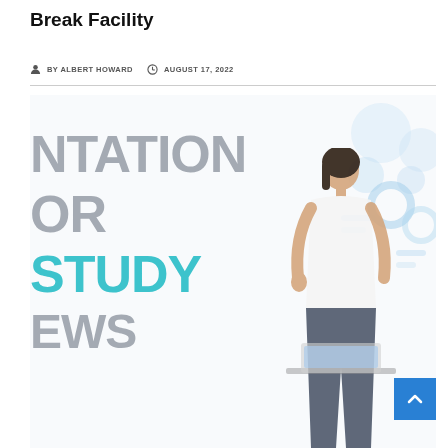Break Facility
BY ALBERT HOWARD  AUGUST 17, 2022
[Figure (illustration): A composite illustration showing large partially-visible bold text reading 'NTATION / OR / STUDY / EWS' on the left side with teal colored STUDY text, and a woman figure on the right standing at a desk working on a laptop, with blurred dashboard/UI circles in the top right background. A blue scroll-to-top button is visible at bottom right.]